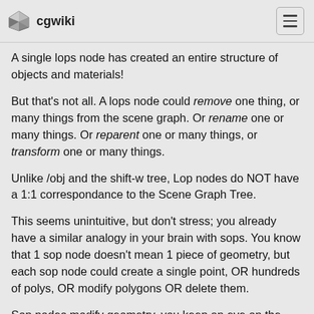cgwiki
A single lops node has created an entire structure of objects and materials!
But that's not all. A lops node could remove one thing, or many things from the scene graph. Or rename one or many things. Or reparent one or many things, or transform one or many things.
Unlike /obj and the shift-w tree, Lop nodes do NOT have a 1:1 correspondance to the Scene Graph Tree.
This seems unintuitive, but don't stress; you already have a similar analogy in your brain with sops. You know that 1 sop node doesn't mean 1 piece of geometry, but each sop node could create a single point, OR hundreds of polys, OR modify polygons OR delete them.
Sop nodes modify geometry, you keep an eye on the